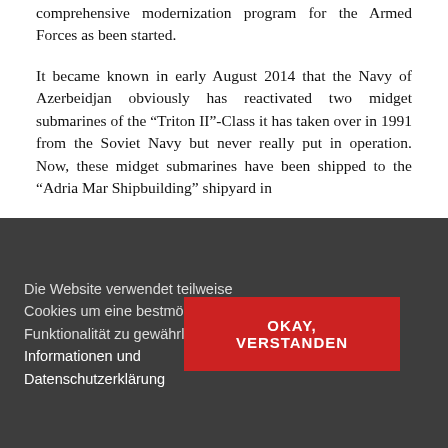comprehensive modernization program for the Armed Forces as been started.
It became known in early August 2014 that the Navy of Azerbeidjan obviously has reactivated two midget submarines of the “Triton II”-Class it has taken over in 1991 from the Soviet Navy but never really put in operation. Now, these midget submarines have been shipped to the “Adria Mar Shipbuilding” shipyard in
Die Website verwendet teilweise Cookies um eine bestmögliche Funktionalität zu gewährleisten. Mehr Informationen und Datenschutzerklärung
OKAY, VERSTANDEN